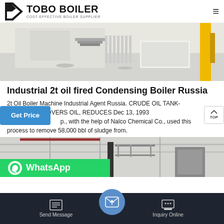TOBO BOILER — COST-EFFECTIVE BOILER SUPPLIER
[Figure (photo): Industrial boiler room interior with machinery, white surfaces, and a yellow pipe on the right side.]
Industrial 2t oil fired Condensing Boiler Russia
2t Oil Boiler Machine Industrial Agent Russia. CRUDE OIL TANK-ROCESS RECOVERS OIL, REDUCES Dec 13, 1993 p., with the help of Nalco Chemical Co., used this process to remove 58,000 bbl of sludge from.
[Figure (photo): Interior of an industrial building with boiler equipment, scaffolding, and overhead structures.]
Send Message | Inquiry Online